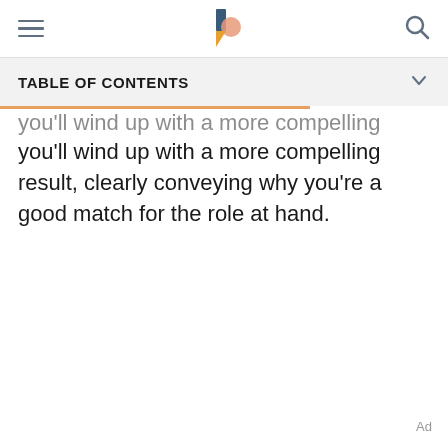TABLE OF CONTENTS
you'll wind up with a more compelling result, clearly conveying why you're a good match for the role at hand.
Ad